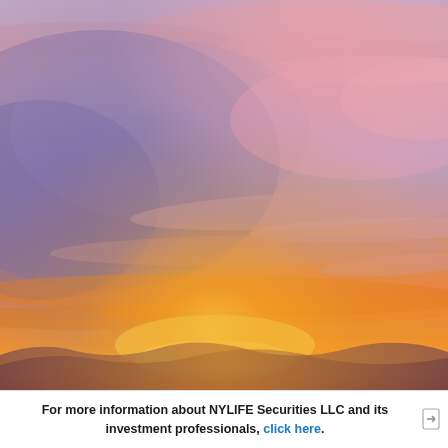[Figure (photo): A dramatic sunset sky with vivid orange, pink, purple, and blue tones. Wispy clouds are illuminated in shades of pink and orange against a deep purple-blue sky. The lower portion glows with intense golden-orange light.]
For more information about NYLIFE Securities LLC and its investment professionals, click here.